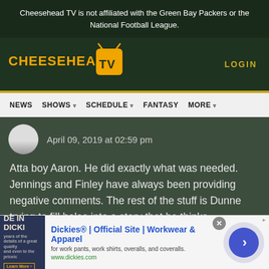Cheesehead TV is not affiliated with the Green Bay Packers or the National Football League.
[Figure (logo): Cheesehead TV logo with golden text and TV icon on dark green background]
LOGIN
NEWS  SHOWS  SCHEDULE  FANTASY  MORE
April 09, 2019 at 02:59 pm
Atta boy Aaron. He did exactly what was needed. Jennings and Finley have always been providing negative comments. The rest of the stuff is Dunne trying to fill holes into a story that he thinks happened. Bad defeats due to suspect coaching. Thompson made bad draft choices and didn't keep the good ones, ie
[Figure (other): Advertisement for Dickies workwear showing 'DE IN DICKI' partial text with dark background image and arrow navigation button]